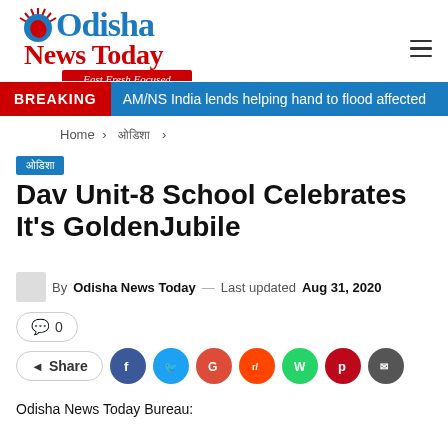[Figure (logo): Odisha News Today logo with red leaf emblem, blue Odisha text, red News Today text, and red Fast Fresh Focused tagline banner]
BREAKING — AM/NS India lends helping hand to flood affected
Home > ओडिशा >
ओडिशा
Dav Unit-8 School Celebrates It's GoldenJubile
By Odisha News Today — Last updated Aug 31, 2020
0
Share
Odisha News Today Bureau: